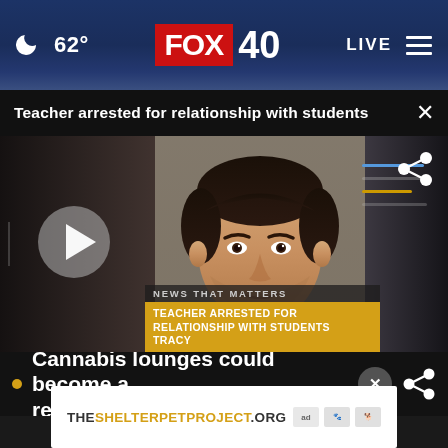[Figure (screenshot): FOX 40 news website screenshot showing navigation bar with moon icon, 62° temperature, FOX 40 logo, LIVE button and hamburger menu]
Teacher arrested for relationship with students
[Figure (photo): Mugshot photo of a young Latino man with dark hair, video thumbnail with play button, news lower-third graphic reading 'NEWS THAT MATTERS' and 'TEACHER ARRESTED FOR RELATIONSHIP WITH STUDENTS TRACY']
Cannabis lounges could become a reality in Sacramento
THESHELTERPETPROJECT.ORG